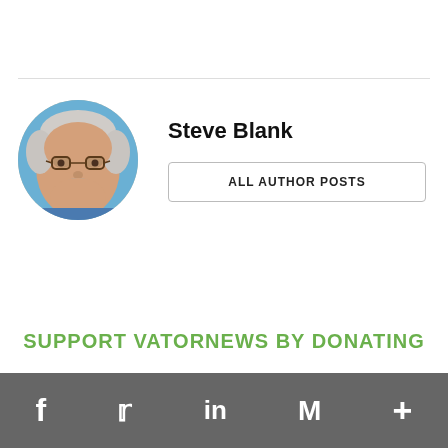[Figure (photo): Circular profile photo of Steve Blank, an older man with white hair and glasses, smiling]
Steve Blank
ALL AUTHOR POSTS
SUPPORT VATORNEWS BY DONATING
Social icons: Facebook, Twitter, LinkedIn, Gmail/Mail, Plus